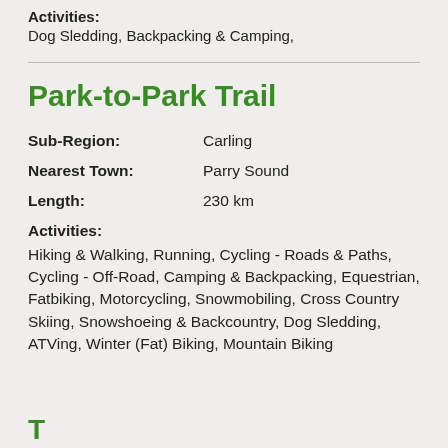Activities:
Dog Sledding, Backpacking & Camping,
Park-to-Park Trail
Sub-Region: Carling
Nearest Town: Parry Sound
Length: 230 km
Activities:
Hiking & Walking, Running, Cycling - Roads & Paths, Cycling - Off-Road, Camping & Backpacking, Equestrian, Fatbiking, Motorcycling, Snowmobiling, Cross Country Skiing, Snowshoeing & Backcountry, Dog Sledding, ATVing, Winter (Fat) Biking, Mountain Biking